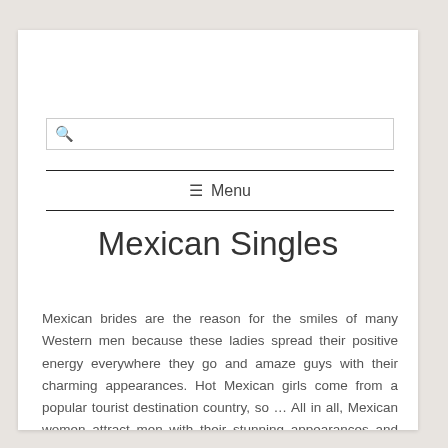Menu
Mexican Singles
Mexican brides are the reason for the smiles of many Western men because these ladies spread their positive energy everywhere they go and amaze guys with their charming appearances. Hot Mexican girls come from a popular tourist destination country, so … All in all, Mexican women attract men with their stunning appearances and light personalities that always inspire guys to stay themselves and be loyal to their lovers. Meeting Mexican singles is like winning a lottery because